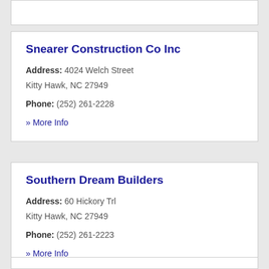Snearer Construction Co Inc
Address: 4024 Welch Street
Kitty Hawk, NC 27949
Phone: (252) 261-2228
» More Info
Southern Dream Builders
Address: 60 Hickory Trl
Kitty Hawk, NC 27949
Phone: (252) 261-2223
» More Info